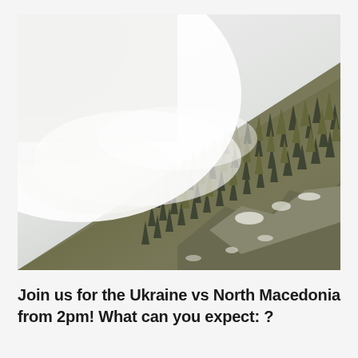[Figure (photo): Aerial or tilted view of a snow-dusted forested mountain slope with conifer trees, partially obscured by thick white fog or low clouds covering the upper-left portion of the image.]
Join us for the Ukraine vs North Macedonia from 2pm! What can you expect: ?